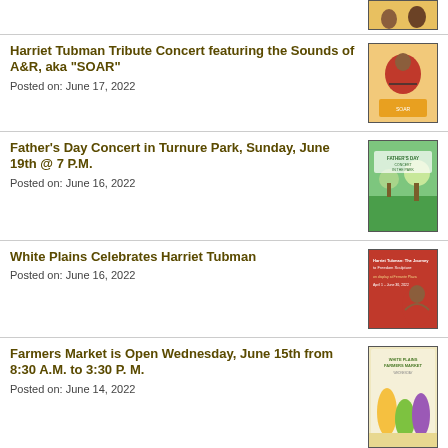[Figure (illustration): Partial thumbnail image at top (cropped), colorful illustration]
Harriet Tubman Tribute Concert featuring the Sounds of A&R, aka "SOAR"
Posted on: June 17, 2022
[Figure (illustration): Harriet Tubman tribute concert poster thumbnail]
Father's Day Concert in Turnure Park, Sunday, June 19th @ 7 P.M.
Posted on: June 16, 2022
[Figure (illustration): Father's Day Concert in the Park poster thumbnail, green background]
White Plains Celebrates Harriet Tubman
Posted on: June 16, 2022
[Figure (illustration): Harriet Tubman: The Journey to Freedom Sculpture exhibit poster, red background]
Farmers Market is Open Wednesday, June 15th from 8:30 A.M. to 3:30 P. M.
Posted on: June 14, 2022
[Figure (illustration): White Plains Farmers Market poster thumbnail]
[Figure (illustration): Partial thumbnail at bottom (cropped)]